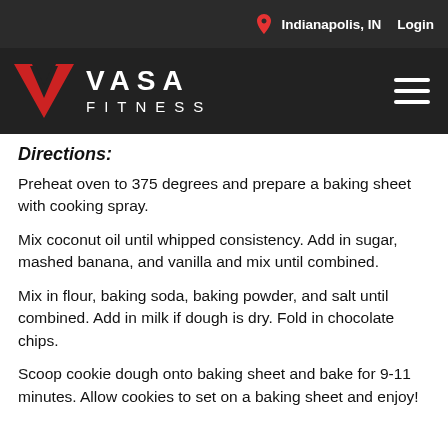Indianapolis, IN   Login
[Figure (logo): VASA FITNESS logo with red V chevron mark and white text on dark background, plus hamburger menu icon]
Directions:
Preheat oven to 375 degrees and prepare a baking sheet with cooking spray.
Mix coconut oil until whipped consistency. Add in sugar, mashed banana, and vanilla and mix until combined.
Mix in flour, baking soda, baking powder, and salt until combined. Add in milk if dough is dry. Fold in chocolate chips.
Scoop cookie dough onto baking sheet and bake for 9-11 minutes. Allow cookies to set on a baking sheet and enjoy!